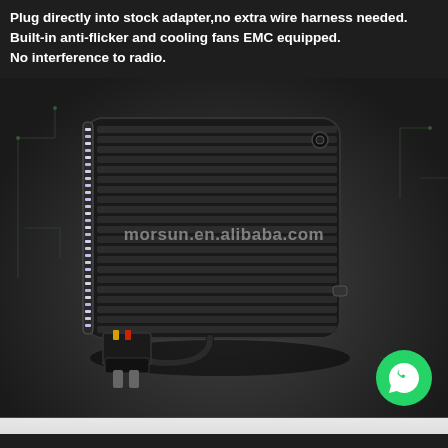Plug directly into stock adapter,no extra wire harness needed. Built-in anti-flicker and cooling fans EMC equipped. No interference to radio.
[Figure (photo): Rear view of a square LED headlight unit with ribbed black heat sink fins, white LED strip around the front edge, and a wiring connector (black plug with yellow and red wires) at the bottom. Watermark 'morsun.en.alibaba.com' overlaid on the image.]
[Figure (logo): WhatsApp logo — white phone handset icon inside a green circle, positioned at bottom right]